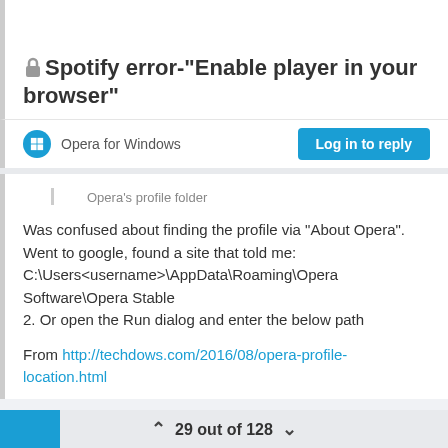Spotify error-"Enable player in your browser"
Opera for Windows
Opera's profile folder
Was confused about finding the profile via "About Opera". Went to google, found a site that told me: C:\Users<username>\AppData\Roaming\Opera Software\Opera Stable
2. Or open the Run dialog and enter the below path
From http://techdows.com/2016/08/opera-profile-location.html
29 out of 128